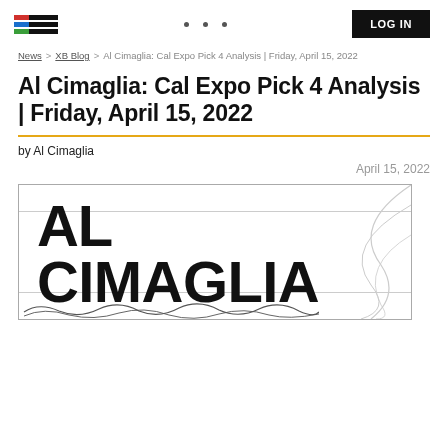LOG IN
News > XB Blog > Al Cimaglia: Cal Expo Pick 4 Analysis | Friday, April 15, 2022
Al Cimaglia: Cal Expo Pick 4 Analysis | Friday, April 15, 2022
by Al Cimaglia
April 15, 2022
[Figure (illustration): AL CIMAGLIA branding card with large bold text and decorative curved lines in background and scribble lines at bottom]